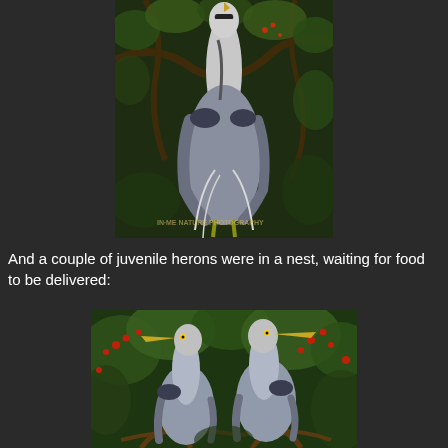[Figure (photo): Great blue heron perched among dark tree branches with green foliage. The bird has grey plumage with white neck and black markings. A watermark reads 'NATURE PHOTOGRAPHY' at the bottom.]
And a couple of juvenile herons were in a nest, waiting for food to be delivered:
[Figure (photo): Two juvenile great blue herons standing in a nest surrounded by green foliage with red berries. The birds have grey-blue plumage and long beaks pointing outward.]